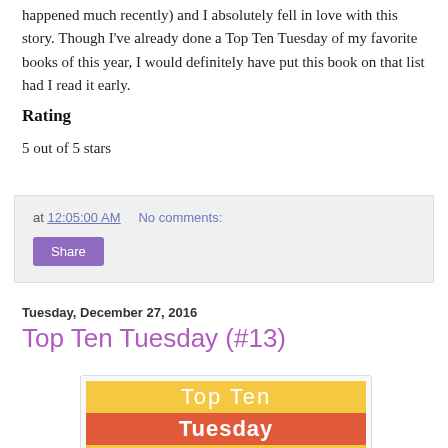happened much recently) and I absolutely fell in love with this story. Though I've already done a Top Ten Tuesday of my favorite books of this year, I would definitely have put this book on that list had I read it early.
Rating
5 out of 5 stars
at 12:05:00 AM    No comments:
Share
Tuesday, December 27, 2016
Top Ten Tuesday (#13)
[Figure (illustration): Top Ten Tuesday logo image with yellow background and orange/red banner showing the text 'Top Ten Tuesday']